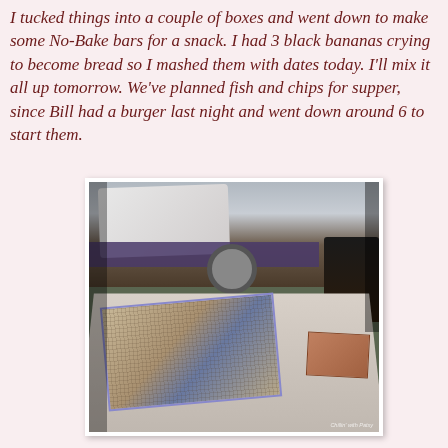I tucked things into a couple of boxes and went down to make some No-Bake bars for a snack. I had 3 black bananas crying to become bread so I mashed them with dates today. I'll mix it all up tomorrow. We've planned fish and chips for supper, since Bill had a burger last night and went down around 6 to start them.
[Figure (photo): Photograph of a room with a bed covered in a white sheet and purple mattress, a wheelchair visible, and in the foreground a table with a jigsaw puzzle spread out, along with the puzzle box nearby. A watermark reads 'Chillin' with Patsy'.]